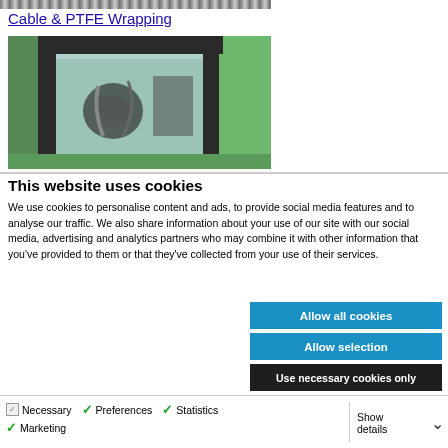[Figure (photo): Striped banner image at top of page]
Cable & PTFE Wrapping
[Figure (photo): Industrial green machine with glass window panel, machinery visible inside]
This website uses cookies
We use cookies to personalise content and ads, to provide social media features and to analyse our traffic. We also share information about your use of our site with our social media, advertising and analytics partners who may combine it with other information that you've provided to them or that they've collected from your use of their services.
Allow all cookies
Allow selection
Use necessary cookies only
Necessary  Preferences  Statistics  Marketing  Show details